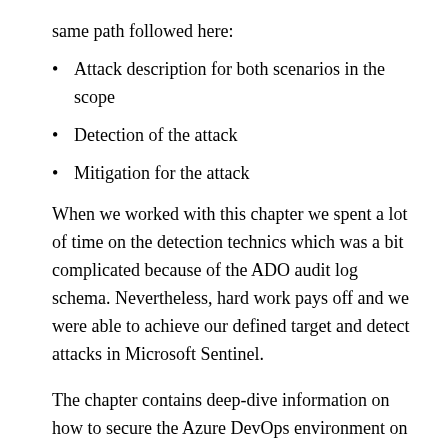same path followed here:
Attack description for both scenarios in the scope
Detection of the attack
Mitigation for the attack
When we worked with this chapter we spent a lot of time on the detection technics which was a bit complicated because of the ADO audit log schema. Nevertheless, hard work pays off and we were able to achieve our defined target and detect attacks in Microsoft Sentinel.
The chapter contains deep-dive information on how to secure the Azure DevOps environment on the mitigation chapter.